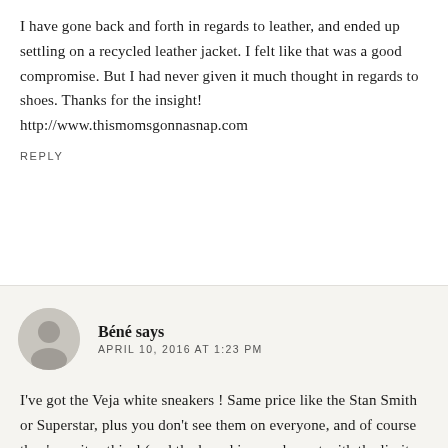I have gone back and forth in regards to leather, and ended up settling on a recycled leather jacket. I felt like that was a good compromise. But I had never given it much thought in regards to shoes. Thanks for the insight! http://www.thismomsgonnasnap.com
REPLY
Béné says
APRIL 10, 2016 AT 1:23 PM
I've got the Veja white sneakers ! Same price like the Stan Smith or Superstar, plus you don't see them on everyone, and of course they're quite ethical (and the brand is very honest with the limits of the ethical